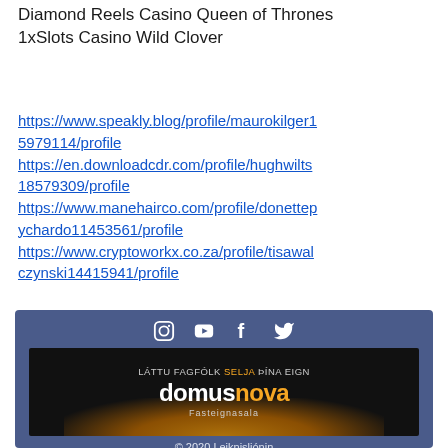Diamond Reels Casino Queen of Thrones
1xSlots Casino Wild Clover
https://www.speakly.blog/profile/maurokilger15979114/profile https://en.downloadcdr.com/profile/hughwilts18579309/profile https://www.manehairco.com/profile/donettepychardo11453561/profile https://www.cryptoworkx.co.za/profile/tisawalczynski14415941/profile
[Figure (screenshot): Website footer with social media icons (Instagram, YouTube, Facebook, Twitter), a DomusNova Fasteignasala advertisement banner on dark background with orange glow, and copyright text '© 2020 Leiknisljónin']